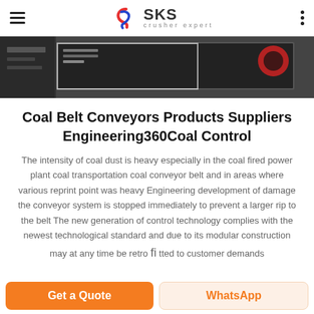SKS crusher expert
[Figure (photo): Industrial conveyor belt machinery, dark background with red and grey components]
Coal Belt Conveyors Products Suppliers Engineering360Coal Control
The intensity of coal dust is heavy especially in the coal fired power plant coal transportation coal conveyor belt and in areas where various reprint point was heavy Engineering development of damage the conveyor system is stopped immediately to prevent a larger rip to the belt The new generation of control technology complies with the newest technological standard and due to its modular construction may at any time be retro fi tted to customer demands
Get a Quote | WhatsApp